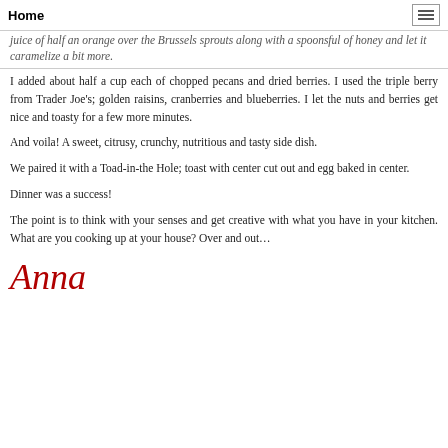Home
juice of half an orange over the Brussels sprouts along with a spoonsful of honey and let it caramelize a bit more.
I added about half a cup each of chopped pecans and dried berries. I used the triple berry from Trader Joe's; golden raisins, cranberries and blueberries. I let the nuts and berries get nice and toasty for a few more minutes.
And voila! A sweet, citrusy, crunchy, nutritious and tasty side dish.
We paired it with a Toad-in-the Hole; toast with center cut out and egg baked in center.
Dinner was a success!
The point is to think with your senses and get creative with what you have in your kitchen. What are you cooking up at your house? Over and out…
Anna